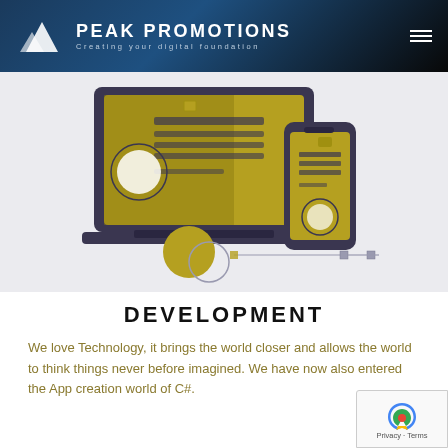PEAK PROMOTIONS Creating your digital foundation
[Figure (illustration): Illustration of a laptop and smartphone with gold/olive coloring, showing UI elements, connected by lines with anchor points. Decorative circles in foreground.]
DEVELOPMENT
We love Technology, it brings the world closer and allows the world to think things never before imagined. We have now also entered the App creation world of C#.
[Figure (logo): reCAPTCHA badge showing recycling arrow icon and Privacy · Terms text]